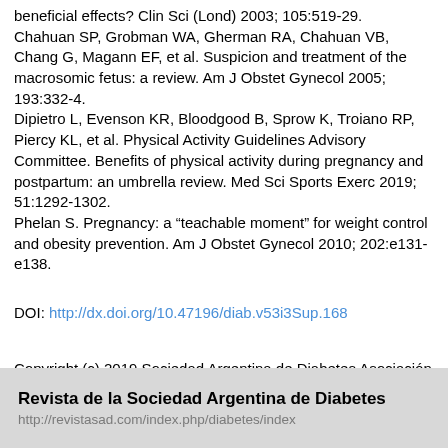beneficial effects? Clin Sci (Lond) 2003; 105:519-29. Chahuan SP, Grobman WA, Gherman RA, Chahuan VB, Chang G, Magann EF, et al. Suspicion and treatment of the macrosomic fetus: a review. Am J Obstet Gynecol 2005; 193:332-4. Dipietro L, Evenson KR, Bloodgood B, Sprow K, Troiano RP, Piercy KL, et al. Physical Activity Guidelines Advisory Committee. Benefits of physical activity during pregnancy and postpartum: an umbrella review. Med Sci Sports Exerc 2019; 51:1292-1302. Phelan S. Pregnancy: a “teachable moment” for weight control and obesity prevention. Am J Obstet Gynecol 2010; 202:e131-e138.
DOI: http://dx.doi.org/10.47196/diab.v53i3Sup.168
Copyright (c) 2019 Sociedad Argentina de Diabetes Asociación Civil
Revista de la Sociedad Argentina de Diabetes
http://revistasad.com/index.php/diabetes/index